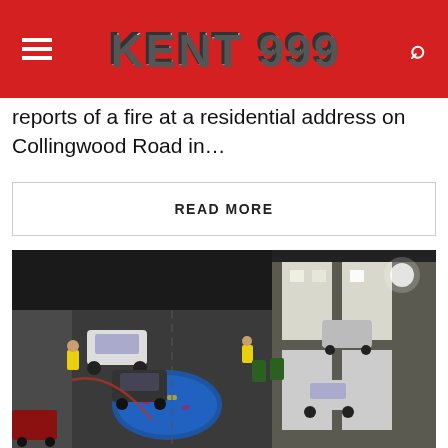KENT 999
reports of a fire at a residential address on Collingwood Road in...
READ MORE
[Figure (photo): Aerial night view of a street scene with emergency responders, vehicles, and a blue tarpaulin on the road]
BREAKING · LONDON · SUTTON
A 27-YEAR-OLD WOMAN HAS BEEN ARRESTED ON